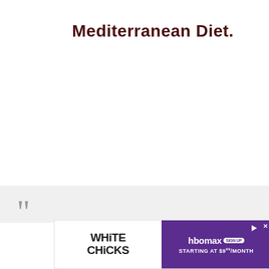Mediterranean Diet.
[Figure (other): Advertisement banner: White Chicks movie ad on left side (white background, stylized black text logo), HBO Max Sign Up ad on right side (purple background, white text 'hbomax SIGN UP STARTING AT $9⁹⁹/MONTH')]